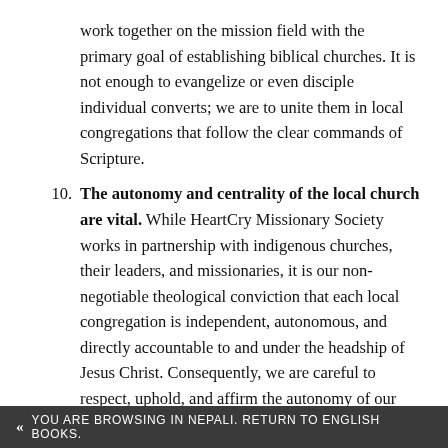work together on the mission field with the primary goal of establishing biblical churches. It is not enough to evangelize or even disciple individual converts; we are to unite them in local congregations that follow the clear commands of Scripture.
10. The autonomy and centrality of the local church are vital. While HeartCry Missionary Society works in partnership with indigenous churches, their leaders, and missionaries, it is our non-negotiable theological conviction that each local congregation is independent, autonomous, and directly accountable to and under the headship of Jesus Christ. Consequently, we are careful to respect, uphold, and affirm the autonomy of our partner churches. HeartCry is not a supra-ecclesiastical authority; rather, it is a society or
« YOU ARE BROWSING IN NEPALI. RETURN TO ENGLISH BOOKS.